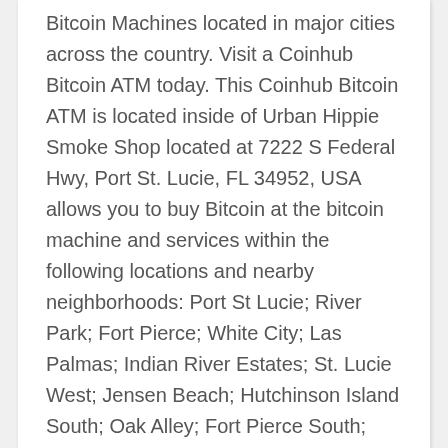Bitcoin Machines located in major cities across the country. Visit a Coinhub Bitcoin ATM today. This Coinhub Bitcoin ATM is located inside of Urban Hippie Smoke Shop located at 7222 S Federal Hwy, Port St. Lucie, FL 34952, USA allows you to buy Bitcoin at the bitcoin machine and services within the following locations and nearby neighborhoods: Port St Lucie; River Park; Fort Pierce; White City; Las Palmas; Indian River Estates; St. Lucie West; Jensen Beach; Hutchinson Island South; Oak Alley; Fort Pierce South; River Oaks; Watersong South; Ocean; Watersong; The Reserve; Maidstone; Willow Pine; Scarborough; South Beach; Palm City; Stuart; North River Shores; Downtown Fort Pierce; River; Bent Creek; Willow Pines; Creekside; Downtown District; Tradition; The Floridian; Fort Pierce North; Ocean Breeze; North Beach; Carlton Country Estates; Sands Lakeview; The Meridian; Coral Cove; Rio; River Club; Indiantown.